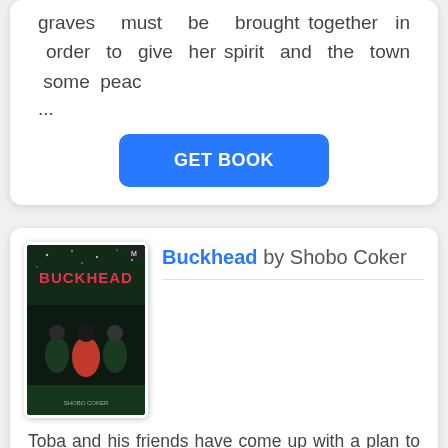graves must be brought together in order to give her spirit and the town some peac
...
GET BOOK
[Figure (illustration): Book cover for 'Buckhead' showing characters on a dark green/black background with the title in red and white lettering]
Buckhead by Shobo Coker
Toba and his friends have come up with a plan to save Buckhead — and Toba's dad. With security at the school tighter than expected, the friends must split up: plunging Toba into the Elseverse, while